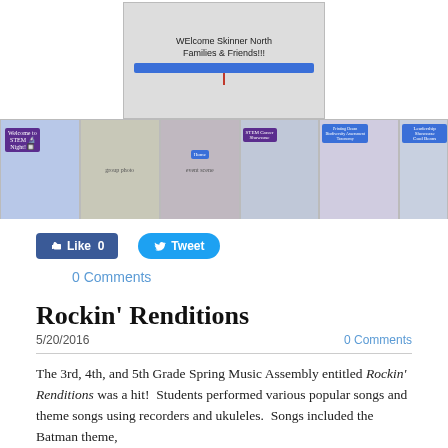[Figure (photo): Whiteboard on a stand reading 'Welcome Skinner North Families & Friends!!' with a blue tray]
[Figure (photo): Strip of six school event photos showing STEM Night signage, people, STEM Career Showcase banner, and students at displays]
Like 0   Tweet
0 Comments
Rockin' Renditions
5/20/2016   0 Comments
The 3rd, 4th, and 5th Grade Spring Music Assembly entitled Rockin' Renditions was a hit!  Students performed various popular songs and theme songs using recorders and ukuleles.  Songs included the Batman theme, Everything is Awesome, Stitches, Chelsea Dagger, Hedwig's